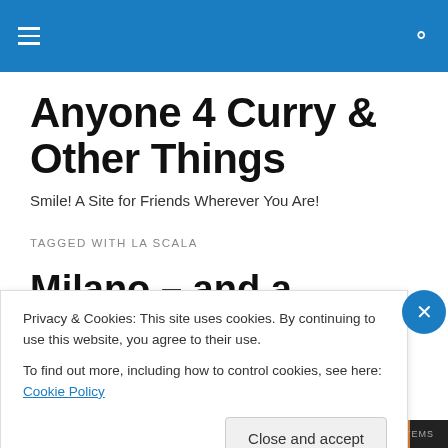Anyone 4 Curry & Other Things — navigation header bar with hamburger menu and search icon
Anyone 4 Curry & Other Things
Smile! A Site for Friends Wherever You Are!
TAGGED WITH LA SCALA
Milano – and a Christmas
Privacy & Cookies: This site uses cookies. By continuing to use this website, you agree to their use.
To find out more, including how to control cookies, see here: Cookie Policy
Close and accept